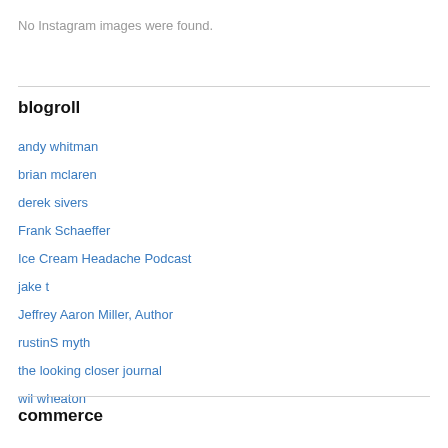No Instagram images were found.
blogroll
andy whitman
brian mclaren
derek sivers
Frank Schaeffer
Ice Cream Headache Podcast
jake t
Jeffrey Aaron Miller, Author
rustinS myth
the looking closer journal
wil wheaton
commerce